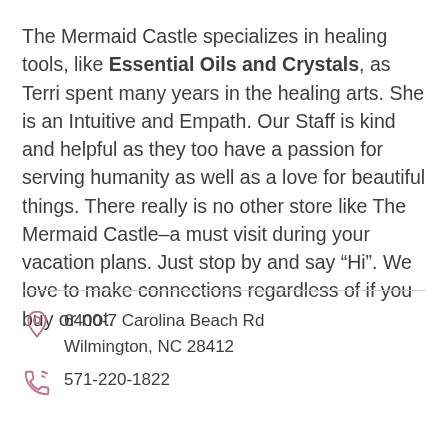The Mermaid Castle specializes in healing tools, like Essential Oils and Crystals, as Terri spent many years in the healing arts. She is an Intuitive and Empath. Our Staff is kind and helpful as they too have a passion for serving humanity as well as a love for beautiful things. There really is no other store like The Mermaid Castle–a must visit during your vacation plans. Just stop by and say “Hi”. We love to make connections regardless of if you buy or not.
6400-7 Carolina Beach Rd
Wilmington, NC 28412
571-220-1822